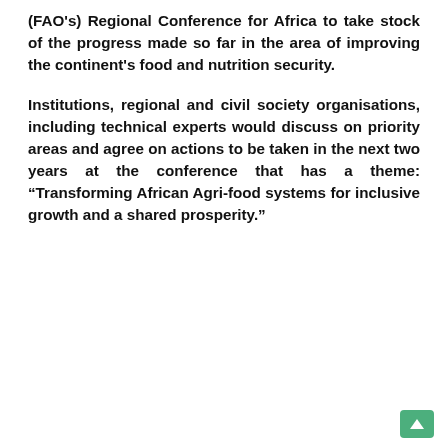(FAO's) Regional Conference for Africa to take stock of the progress made so far in the area of improving the continent's food and nutrition security.
Institutions, regional and civil society organisations, including technical experts would discuss on priority areas and agree on actions to be taken in the next two years at the conference that has a theme: “Transforming African Agri-food systems for inclusive growth and a shared prosperity.”